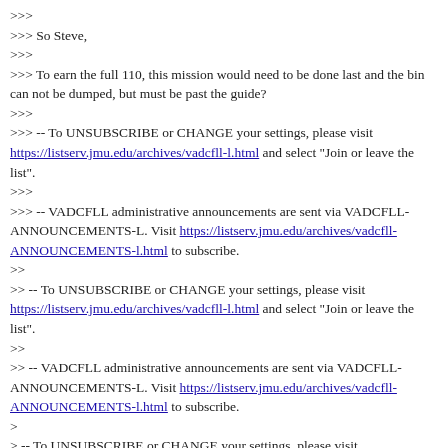>>>
>>> So Steve,
>>>
>>> To earn the full 110, this mission would need to be done last and the bin can not be dumped, but must be past the guide?
>>>
>>> -- To UNSUBSCRIBE or CHANGE your settings, please visit https://listserv.jmu.edu/archives/vadcfll-l.html and select "Join or leave the list".
>>>
>>> -- VADCFLL administrative announcements are sent via VADCFLL-ANNOUNCEMENTS-L. Visit https://listserv.jmu.edu/archives/vadcfll-ANNOUNCEMENTS-l.html to subscribe.
>>
>> -- To UNSUBSCRIBE or CHANGE your settings, please visit https://listserv.jmu.edu/archives/vadcfll-l.html and select "Join or leave the list".
>>
>> -- VADCFLL administrative announcements are sent via VADCFLL-ANNOUNCEMENTS-L. Visit https://listserv.jmu.edu/archives/vadcfll-ANNOUNCEMENTS-l.html to subscribe.
>
> -- To UNSUBSCRIBE or CHANGE your settings, please visit